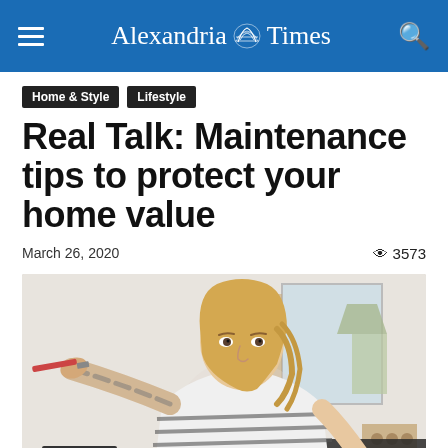Alexandria Times
Home & Style
Lifestyle
Real Talk: Maintenance tips to protect your home value
March 26, 2020
3573
[Figure (photo): A blonde woman in a striped shirt doing home maintenance work, reaching toward a wall with tools, in a home interior setting.]